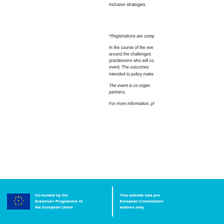inclusion strategies.
*Registrations are comp
In the course of the eve around the challenges practitioners who will co event. The outcomes intended to policy make
The event is co-organ partners.
For more information, pl
[Figure (logo): EU flag logo with Erasmus+ co-funded text and disclaimer]
Co-funded by the Erasmus+ Programme of the European Union
This website was pro European Commission authors only.